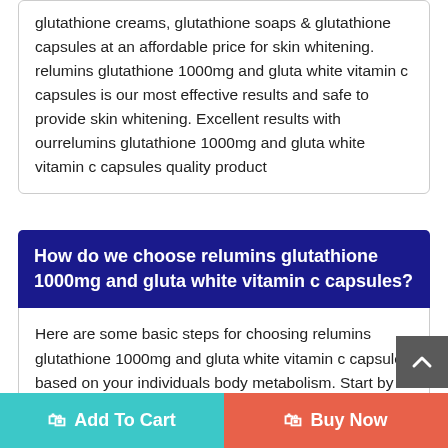glutathione creams, glutathione soaps & glutathione capsules at an affordable price for skin whitening. relumins glutathione 1000mg and gluta white vitamin c capsules is our most effective results and safe to provide skin whitening. Excellent results with ourrelumins glutathione 1000mg and gluta white vitamin c capsules quality product
How do we choose relumins glutathione 1000mg and gluta white vitamin c capsules?
Here are some basic steps for choosing relumins glutathione 1000mg and gluta white vitamin c capsules based on your individuals body metabolism. Start by deciding what kind of relumins glutathione 1000mg and gluta white vitamin c capsules you